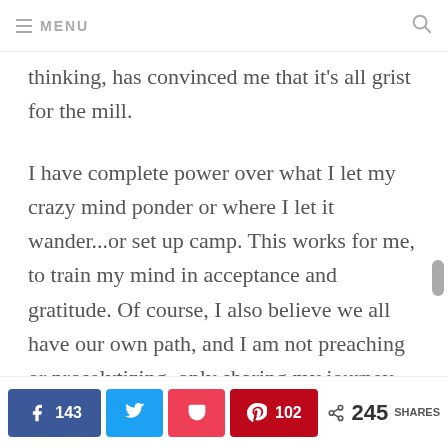≡ MENU
thinking, has convinced me that it's all grist for the mill.

I have complete power over what I let my crazy mind ponder or where I let it wander...or set up camp. This works for me, to train my mind in acceptance and gratitude. Of course, I also believe we all have our own path, and I am not preaching or proselytizing, only sharing my journey and offering my
143 [Facebook] [Twitter] [Pocket] 102 [Pinterest] < 245 SHARES